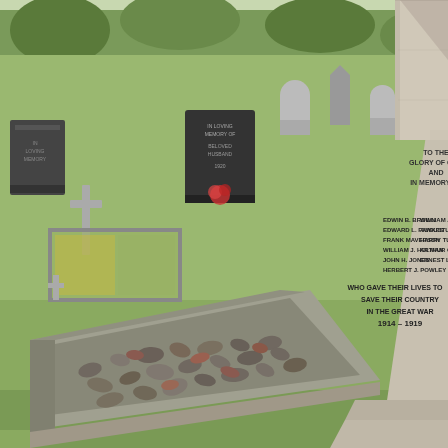[Figure (photo): A photograph of a British churchyard war memorial. On the right stands a tall stone obelisk/cross monument with inscriptions. The top portion reads 'TO THE GLORY OF GOD AND IN MEMORY OF'. Below are two columns of names: 'EDWIN B. BROWN', 'EDWARD L. FAWKES', 'FRANK MAVERSON', 'WILLIAM J. HOLMAN', 'JOHN H. JONES', 'HERBERT J. POWLEY' on the left, and 'WILLIAM J. POWLEY', 'AUGUSTUS W. TURNER', 'HARRY TURNER', 'ARTHUR G. TWIDD', 'ERNEST L. TWIDDY' on the right. Below the names: 'WHO GAVE THEIR LIVES TO SAVE THEIR COUNTRY IN THE GREAT WAR 1914 - 1919'. In the foreground is a stone-edged rectangular structure filled with flint/rubble stones. The background shows a grassy churchyard with multiple gravestones and headstones, trees, and part of a church building visible. Sunny day conditions.]